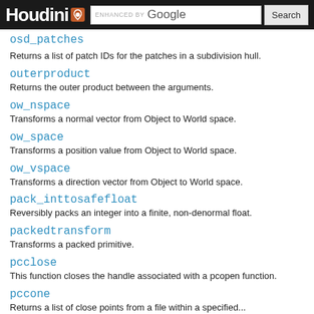Houdini — ENHANCED BY Google Search
osd_patches
Returns a list of patch IDs for the patches in a subdivision hull.
outerproduct
Returns the outer product between the arguments.
ow_nspace
Transforms a normal vector from Object to World space.
ow_space
Transforms a position value from Object to World space.
ow_vspace
Transforms a direction vector from Object to World space.
pack_inttosafefloat
Reversibly packs an integer into a finite, non-denormal float.
packedtransform
Transforms a packed primitive.
pcclose
This function closes the handle associated with a pcopen function.
pccone
Returns a list of close points from a file within a specified...